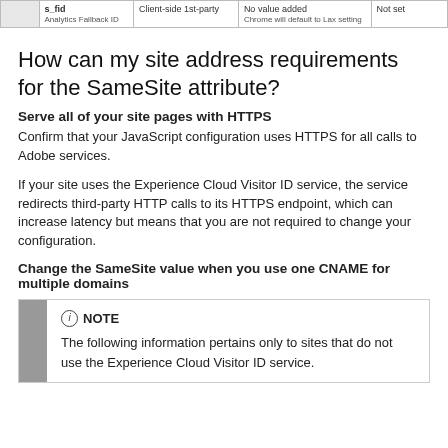|  | s_fid
Analytics Fallback ID | Client-side 1st-party | No value added
Chrome will default to Lax setting | Not set |
| --- | --- | --- | --- | --- |
How can my site address requirements for the SameSite attribute?
Serve all of your site pages with HTTPS
Confirm that your JavaScript configuration uses HTTPS for all calls to Adobe services.
If your site uses the Experience Cloud Visitor ID service, the service redirects third-party HTTP calls to its HTTPS endpoint, which can increase latency but means that you are not required to change your configuration.
Change the SameSite value when you use one CNAME for multiple domains
NOTE
The following information pertains only to sites that do not use the Experience Cloud Visitor ID service.